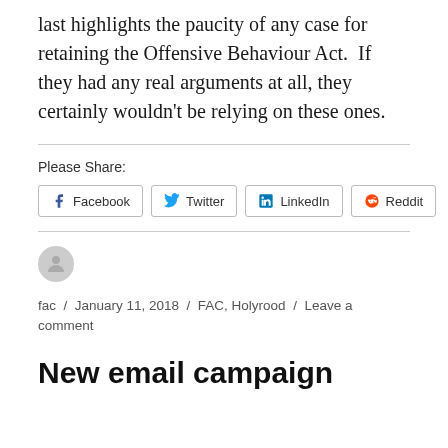last highlights the paucity of any case for retaining the Offensive Behaviour Act.  If they had any real arguments at all, they certainly wouldn't be relying on these ones.
Please Share:
Facebook  Twitter  LinkedIn  Reddit
fac / January 11, 2018 / FAC, Holyrood / Leave a comment
New email campaign